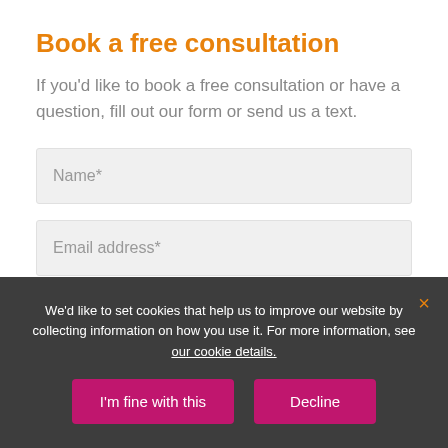Book a free consultation
If you'd like to book a free consultation or have a question, fill out our form or send us a text.
Name*
Email address*
Phone number*
We'd like to set cookies that help us to improve our website by collecting information on how you use it. For more information, see our cookie details.
I'm fine with this
Decline